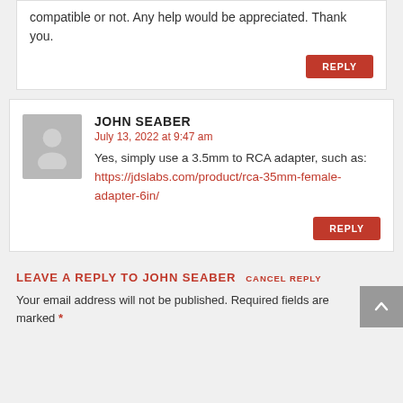compatible or not. Any help would be appreciated. Thank you.
REPLY
JOHN SEABER
July 13, 2022 at 9:47 am
Yes, simply use a 3.5mm to RCA adapter, such as: https://jdslabs.com/product/rca-35mm-female-adapter-6in/
REPLY
LEAVE A REPLY TO JOHN SEABER CANCEL REPLY
Your email address will not be published. Required fields are marked *